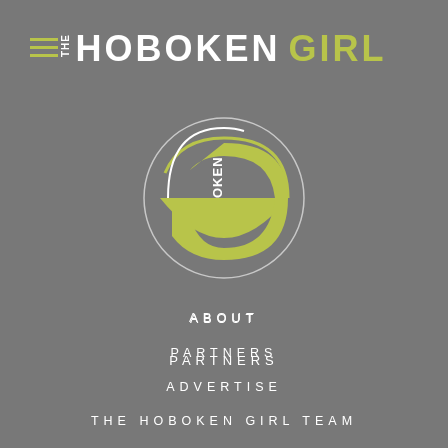THE HOBOKEN GIRL
[Figure (logo): The Hoboken Girl circular logo with green and white design showing a smile shape and OKEN text]
ABOUT
PARTNERS
ADVERTISE
THE HOBOKEN GIRL TEAM
SUBMIT AN EVENT
PRIVACY